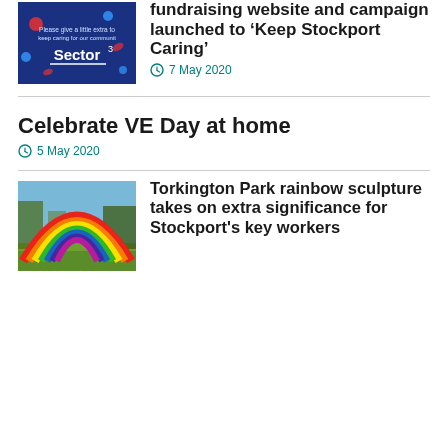[Figure (photo): Sector3 charity fundraising image on dark blue background with dots and text]
fundraising website and campaign launched to ‘Keep Stockport Caring’
7 May 2020
Celebrate VE Day at home
5 May 2020
[Figure (photo): Rainbow sculpture in Torkington Park with trees and blue sky in background]
Torkington Park rainbow sculpture takes on extra significance for Stockport's key workers